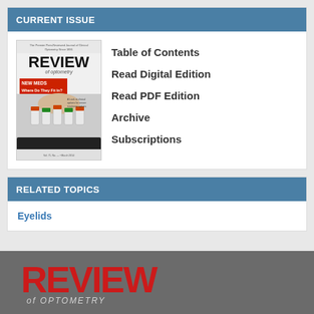CURRENT ISSUE
[Figure (photo): Cover of Review of Optometry magazine showing pills/medications with headline 'NEW MEDS: Where Do They Fit In?']
Table of Contents
Read Digital Edition
Read PDF Edition
Archive
Subscriptions
RELATED TOPICS
Eyelids
[Figure (logo): Review of Optometry logo in red and gray]